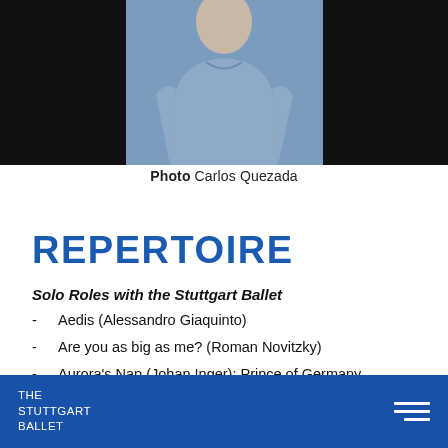[Figure (photo): Portrait photo of a male ballet dancer in a blue/grey t-shirt against a dark background, cropped to show upper body]
Photo Carlos Quezada
REPERTOIRE
Solo Roles with the Stuttgart Ballet
Aedis (Alessandro Giaquinto)
Are you as big as me? (Roman Novitzky)
Aurora's Nap (Johan Inger): Prince of Germany
Blake Works I (William Forsythe)
Bolero (Maurice Béjart): The Rhythm
THE STUTTGART BALLET